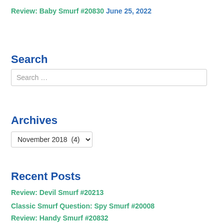Review: Baby Smurf #20830  June 25, 2022
Search
Search …
Archives
November 2018  (4)
Recent Posts
Review: Devil Smurf #20213
Classic Smurf Question: Spy Smurf #20008
Review: Handy Smurf #20832
Review: Chef Smurf #20831